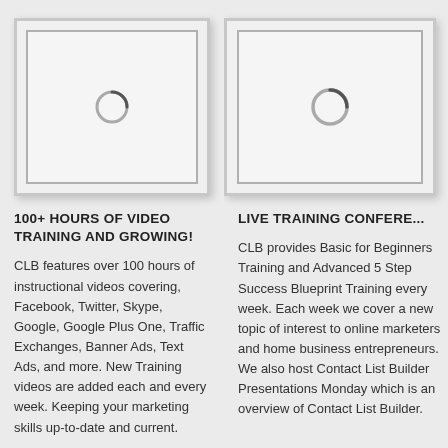[Figure (screenshot): Video player placeholder box with loading spinner icon, left column]
100+ HOURS OF VIDEO TRAINING AND GROWING!
CLB features over 100 hours of instructional videos covering, Facebook, Twitter, Skype, Google, Google Plus One, Traffic Exchanges, Banner Ads, Text Ads, and more. New Training videos are added each and every week. Keeping your marketing skills up-to-date and current.
[Figure (screenshot): Video player placeholder box with loading spinner icon, right column]
LIVE TRAINING CONFERE...
CLB provides Basic for Beginners Training and Advanced 5 Step Success Blueprint Training every week. Each week we cover a new topic of interest to online marketers and home business entrepreneurs. We also host Contact List Builder Presentations Monday which is an overview of Contact List Builder.